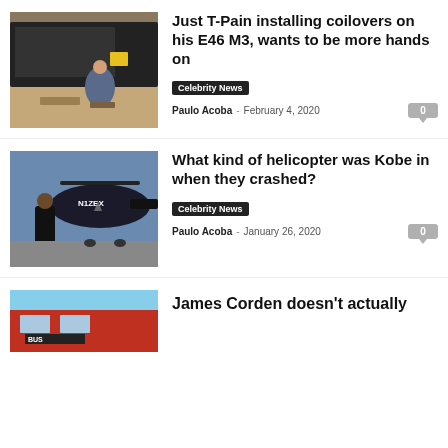[Figure (photo): A person working under the hood of a black car, garage setting]
Just T-Pain installing coilovers on his E46 M3, wants to be more hands on
Celebrity News
Paulo Acoba  -  February 4, 2020
[Figure (photo): Kobe Bryant standing in front of a dark helicopter with N1ZEX markings]
What kind of helicopter was Kobe in when they crashed?
Celebrity News
Paulo Acoba  -  January 26, 2020
[Figure (photo): Partial view of a red vehicle or bus]
James Corden doesn't actually